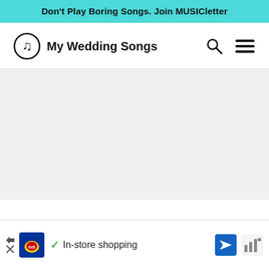Don't Play Boring Songs. Join MUSICletter
[Figure (logo): My Wedding Songs website header with musical note logo, site name, search icon, and hamburger menu icon]
[Figure (other): Light gray placeholder/content area rectangle]
[Figure (other): Advertisement banner: Lidl logo, checkmark, 'In-store shopping' text, navigation arrow icon, weather widget icon]